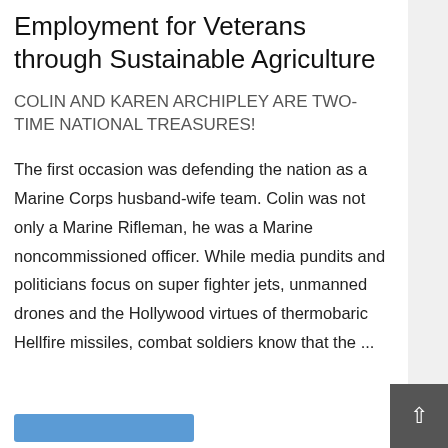Employment for Veterans through Sustainable Agriculture
COLIN AND KAREN ARCHIPLEY ARE TWO-TIME NATIONAL TREASURES!
The first occasion was defending the nation as a Marine Corps husband-wife team. Colin was not only a Marine Rifleman, he was a Marine noncommissioned officer. While media pundits and politicians focus on super fighter jets, unmanned drones and the Hollywood virtues of thermobaric Hellfire missiles, combat soldiers know that the ...